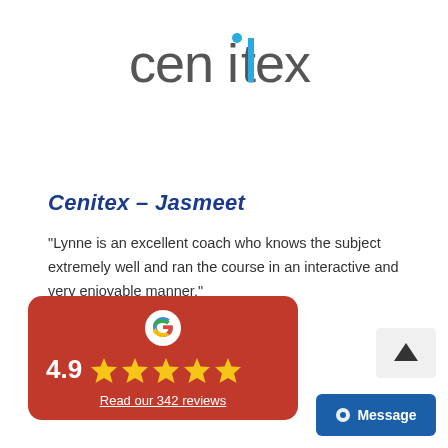[Figure (logo): Cenitex logo with blue and gray lettering, 'i' dot in blue]
Cenitex – Jasmeet
"Lynne is an excellent coach who knows the subject extremely well and ran the course in an interactive and very enjoyable manner."
[Figure (infographic): Red rounded rectangle card with Google G icon, rating 4.9, five gold stars, and underlined text 'Read our 342 reviews']
[Figure (other): Scroll-up button with upward arrow]
[Figure (other): Blue Message button with chat bubble icon]